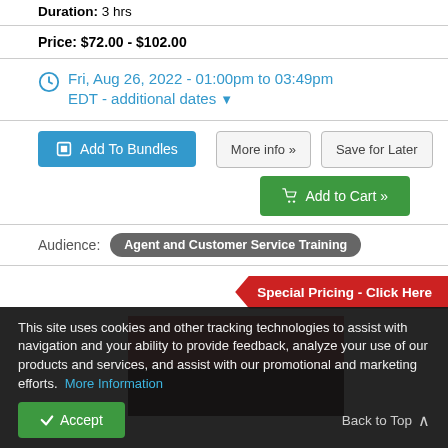Duration: 3 hrs
Price: $72.00 - $102.00
Fri, Aug 26, 2022 - 01:00pm to 03:49pm EDT - additional dates
Add To Bundles
More info »
Save for Later
Add to Cart »
Audience: Agent and Customer Service Training
Special Pricing - Click Here
This site uses cookies and other tracking technologies to assist with navigation and your ability to provide feedback, analyze your use of our products and services, and assist with our promotional and marketing efforts.  More Information
Accept
Back to Top